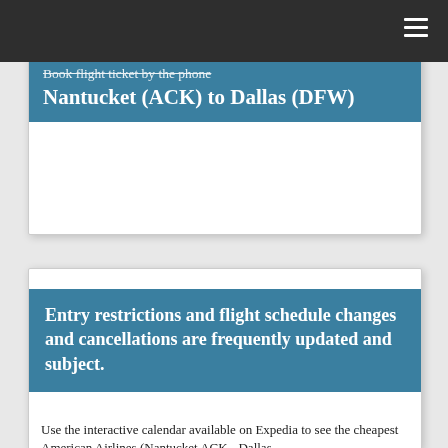Book flight ticket by the phone Nantucket (ACK) to Dallas (DFW)
Entry restrictions and flight schedule changes and cancellations are frequently updated and subject.
Use the interactive calendar available on Expedia to see the cheapest American Airlines (Nantucket ACK - Dallas